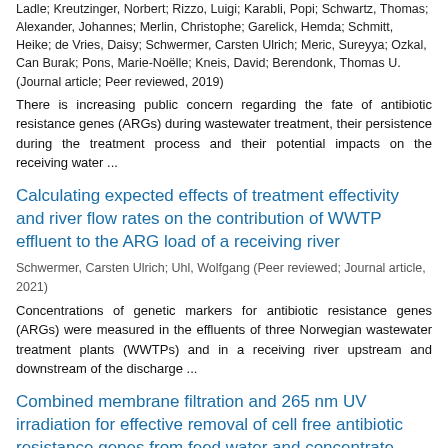Ladle; Kreutzinger, Norbert; Rizzo, Luigi; Karabli, Popi; Schwartz, Thomas; Alexander, Johannes; Merlin, Christophe; Garelick, Hemda; Schmitt, Heike; de Vries, Daisy; Schwermer, Carsten Ulrich; Meric, Sureyya; Ozkal, Can Burak; Pons, Marie-Noëlle; Kneis, David; Berendonk, Thomas U. (Journal article; Peer reviewed, 2019)
There is increasing public concern regarding the fate of antibiotic resistance genes (ARGs) during wastewater treatment, their persistence during the treatment process and their potential impacts on the receiving water ...
Calculating expected effects of treatment effectivity and river flow rates on the contribution of WWTP effluent to the ARG load of a receiving river
Schwermer, Carsten Ulrich; Uhl, Wolfgang (Peer reviewed; Journal article, 2021)
Concentrations of genetic markers for antibiotic resistance genes (ARGs) were measured in the effluents of three Norwegian wastewater treatment plants (WWTPs) and in a receiving river upstream and downstream of the discharge ...
Combined membrane filtration and 265 nm UV irradiation for effective removal of cell free antibiotic resistance genes from feed water and concentrate
Krzeminski, Pawel; Feys, Edward; Anglès d'Auriac, Marc; Wennberg,